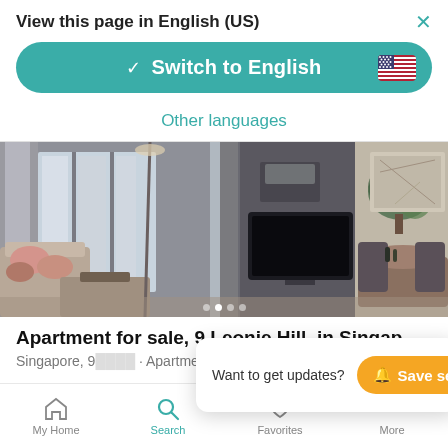View this page in English (US)
Switch to English
Other languages
[Figure (photo): Interior photo of a luxury apartment living/dining room with large windows, sofa with cushions, flat-screen TV and dining table with chairs]
Apartment for sale, 9 Leonie Hill, in Singapore, Singap...
Singapore, 9... · Apartment
Want to get updates? Save search
My Home · Search · Favorites · More